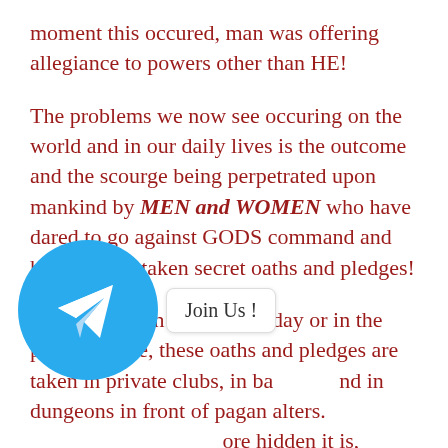moment this occured, man was offering allegiance to powers other than HE!
The problems we now see occuring on the world and in our daily lives is the outcome and the scourge being perpetrated upon mankind by MEN and WOMEN who have dared to go against GODS command and have indeed taken secret oaths and pledges!
Rarely taken in the light of day or in the public square, these oaths and pledges are taken in private clubs, in ba[...] and in dungeons in front of pagan alters. [...] ore hidden it is, usually ta[...] from public scrutiny and usually in the dark of night!
[Figure (logo): Telegram app icon — blue circle with white paper plane arrow, with a 'Join Us !' button overlay]